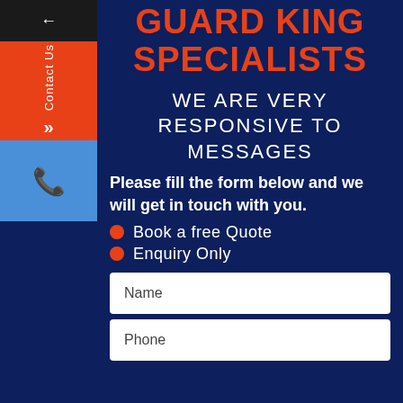GUARD KING SPECIALISTS
WE ARE VERY RESPONSIVE TO MESSAGES
Please fill the form below and we will get in touch with you.
Book a free Quote
Enquiry Only
Name
Phone